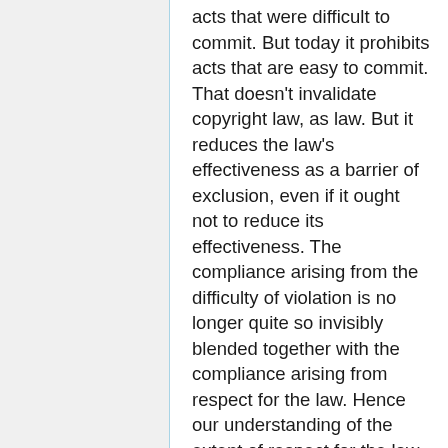acts that were difficult to commit. But today it prohibits acts that are easy to commit. That doesn't invalidate copyright law, as law. But it reduces the law's effectiveness as a barrier of exclusion, even if it ought not to reduce its effectiveness. The compliance arising from the difficulty of violation is no longer quite so invisibly blended together with the compliance arising from respect for the law. Hence our understanding of the extent of respect for the law is not quite so distorted. In fact, compliance is down. Way down. Speaking for the US, I doubt that we've seen more widespread and conspicuous violation of any laws